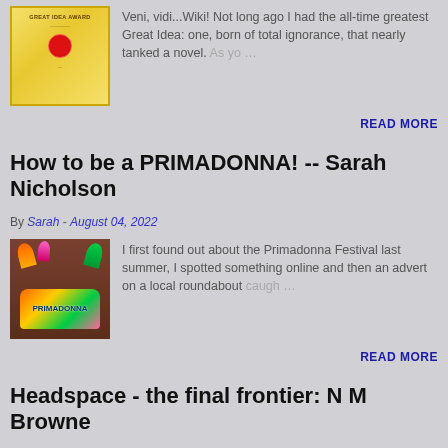[Figure (photo): Thumbnail image of a Great Idea Award certificate with a red wax seal on yellow/gold background]
Veni, vidi...Wiki! Not long ago I had the all-time greatest Great Idea: one, born of total ignorance, that nearly tanked a novel. As yo…
READ MORE
How to be a PRIMADONNA! -- Sarah Nicholson
By Sarah - August 04, 2022
[Figure (photo): Thumbnail image of colorful festival decorations with flower-like ornaments on a wooden background]
I first found out about the Primadonna Festival last summer, I spotted something online and then an advert on a local roundabout caugh…
READ MORE
Headspace - the final frontier: N M Browne
By Nicky - July 29, 2022